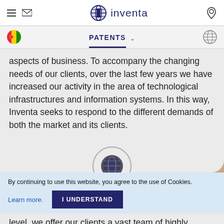inventa — header with hamburger menu, mail icon, logo, user icon
PATENTS
aspects of business. To accompany the changing needs of our clients, over the last few years we have increased our activity in the area of technological infrastructures and information systems. In this way, Inventa seeks to respond to the different demands of both the market and its clients.
[Figure (illustration): Circular globe icon button]
By continuing to use this website, you agree to the use of Cookies.
Learn more.  I UNDERSTAND
level, we offer our clients a vast team of highly